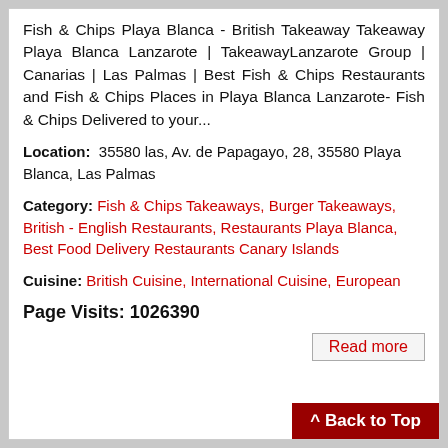Fish & Chips Playa Blanca - British Takeaway Takeaway Playa Blanca Lanzarote | TakeawayLanzarote Group | Canarias | Las Palmas | Best Fish & Chips Restaurants and Fish & Chips Places in Playa Blanca Lanzarote- Fish & Chips Delivered to your...
Location: 35580 las, Av. de Papagayo, 28, 35580 Playa Blanca, Las Palmas
Category: Fish & Chips Takeaways, Burger Takeaways, British - English Restaurants, Restaurants Playa Blanca, Best Food Delivery Restaurants Canary Islands
Cuisine: British Cuisine, International Cuisine, European
Page Visits: 1026390
Read more
^ Back to Top